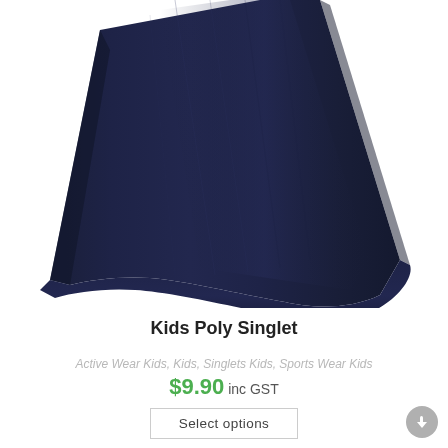[Figure (photo): Close-up photo of the lower portion of a navy blue kids poly singlet/sleeveless shirt against a white background, showing the hem and fabric texture.]
Kids Poly Singlet
Active Wear Kids, Kids, Singlets Kids, Sports Wear Kids
$9.90 inc GST
Select options